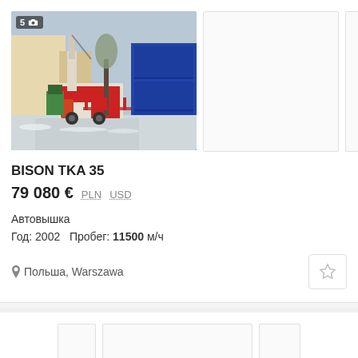[Figure (photo): Main photo of BISON TKA 35 aerial work platform (cherry picker) crane truck on a narrow street between buildings, winter scene with snow on ground. Badge shows '5' with camera icon.]
BISON TKA 35
79 080 €   PLN   USD
Автовышка
Год: 2002   Пробег: 11500 м/ч
Польша, Warszawa
[Figure (photo): Partial second listing image placeholder, white/empty thumbnail]